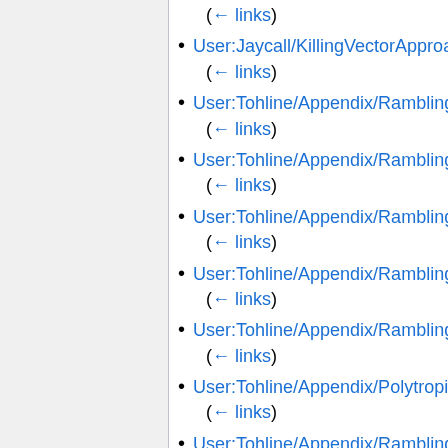(← links)
User:Jaycall/KillingVectorApproach
(← links)
User:Tohline/Appendix/Ramblings/T3Ch…
(← links)
User:Tohline/Appendix/Ramblings/T3Inte…
(← links)
User:Tohline/Appendix/Ramblings/T4Inte…
(← links)
User:Tohline/Appendix/Ramblings/Direc…
(← links)
User:Tohline/Appendix/Ramblings/Radia…
(← links)
User:Tohline/Appendix/PolytropicBinarie…
(← links)
User:Tohline/Appendix/Ramblings/Radia…
(← links)
User:Tohline/SSC/Structure/WhiteDwarf…
(← links)
User:Tohline/Appendix/Ramblings/Radi…